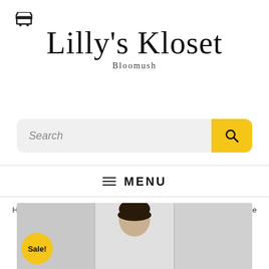[Figure (logo): Shopping cart icon in top left corner]
Lilly's Kloset
Bloomush
[Figure (other): Search bar with yellow search button containing magnifier icon]
≡ MENU
Home ▶/ Clothing  ▶/ Dresses  ▶/ Womens Lillys Kloset Dresses | The Diamond Halter Cover Up Dress White
[Figure (photo): Sale badge circle in yellow with text 'Sale!' overlaid on product photo showing model with dark hair against light gray background]